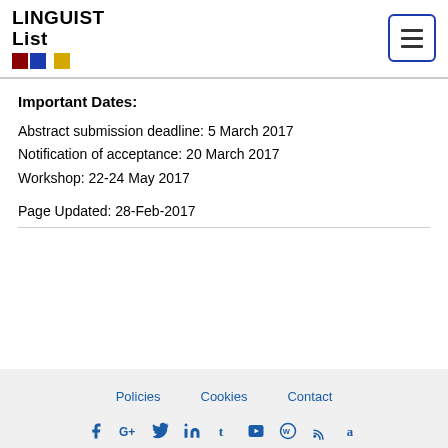LINGUIST List
Important Dates:
Abstract submission deadline: 5 March 2017
Notification of acceptance: 20 March 2017
Workshop: 22-24 May 2017
Page Updated: 28-Feb-2017
Policies  Cookies  Contact